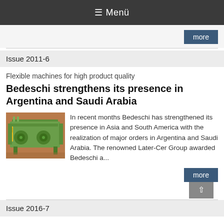≡ Menü
more
Issue 2011-6
Flexible machines for high product quality
Bedeschi strengthens its presence in Argentina and Saudi Arabia
[Figure (photo): Green industrial machine (clay brick making equipment) in a factory setting]
In recent months Bedeschi has strengthened its presence in Asia and South America with the realization of major orders in Argentina and Saudi Arabia. The renowned Later-Cer Group awarded Bedeschi a...
more
Issue 2016-7